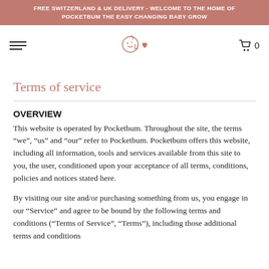FREE SWITZERLAND & UK DELIVERY - WELCOME TO THE HOME OF POCKETBUM THE EASY CHANGING BABY GROW
Terms of service
OVERVIEW
This website is operated by Pocketbum. Throughout the site, the terms “we”, “us” and “our” refer to Pocketbum. Pocketbum offers this website, including all information, tools and services available from this site to you, the user, conditioned upon your acceptance of all terms, conditions, policies and notices stated here.
By visiting our site and/or purchasing something from us, you engage in our “Service” and agree to be bound by the following terms and conditions (“Terms of Service”, “Terms”), including those additional terms and conditions and policies referenced herein and/or available by hyperlink.